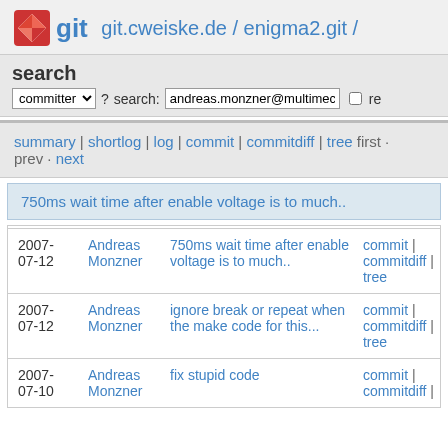git  git.cweiske.de / enigma2.git /
search  committer ?  search: andreas.monzner@multimec  re
summary | shortlog | log | commit | commitdiff | tree first · prev · next
750ms wait time after enable voltage is to much..
| Date | Author | Message | Links |
| --- | --- | --- | --- |
| 2007-07-12 | Andreas Monzner | 750ms wait time after enable voltage is to much.. | commit | commitdiff | tree |
| 2007-07-12 | Andreas Monzner | ignore break or repeat when the make code for this... | commit | commitdiff | tree |
| 2007-07-10 | Andreas Monzner | fix stupid code | commit | commitdiff | |